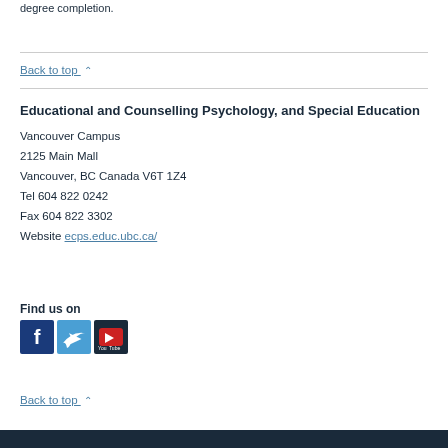degree completion.
Back to top ∧
Educational and Counselling Psychology, and Special Education
Vancouver Campus
2125 Main Mall
Vancouver, BC Canada V6T 1Z4
Tel 604 822 0242
Fax 604 822 3302
Website ecps.educ.ubc.ca/
Find us on
[Figure (logo): Social media icons: Facebook, Twitter, YouTube]
Back to top ∧